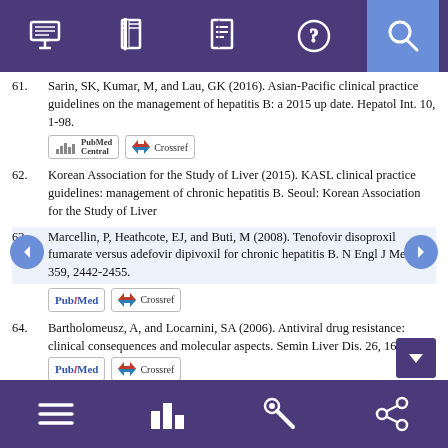[Figure (screenshot): Top navigation bar with icons: monitor, book, document, question mark, and search (active/highlighted)]
61. Sarin, SK, Kumar, M, and Lau, GK (2016). Asian-Pacific clinical practice guidelines on the management of hepatitis B: a 2015 up date. Hepatol Int. 10, 1-98.
[Figure (other): PubMed Central and Crossref badge buttons]
62. Korean Association for the Study of Liver (2015). KASL clinical practice guidelines: management of chronic hepatitis B. Seoul: Korean Association for the Study of Liver
63. Marcellin, P, Heathcote, EJ, and Buti, M (2008). Tenofovir disoproxil fumarate versus adefovir dipivoxil for chronic hepatitis B. N Engl J Med. 359, 2442-2455.
[Figure (other): PubMed and Crossref badge buttons]
64. Bartholomeusz, A, and Locarnini, SA (2006). Antiviral drug resistance: clinical consequences and molecular aspects. Semin Liver Dis. 26, 162-170.
[Figure (other): PubMed and Crossref badge buttons]
[Figure (screenshot): Bottom navigation bar with menu, chart, wrench, and share icons]